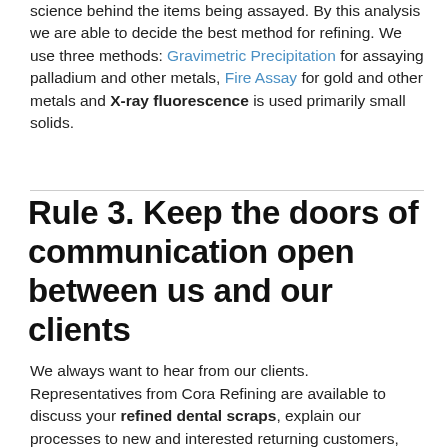science behind the items being assayed. By this analysis we are able to decide the best method for refining. We use three methods: Gravimetric Precipitation for assaying palladium and other metals, Fire Assay for gold and other metals and X-ray fluorescence is used primarily small solids.
Rule 3. Keep the doors of communication open between us and our clients
We always want to hear from our clients. Representatives from Cora Refining are available to discuss your refined dental scraps, explain our processes to new and interested returning customers, answer any questions you may have regarding the regulations we follow, our processes, or our fees and turn around times.